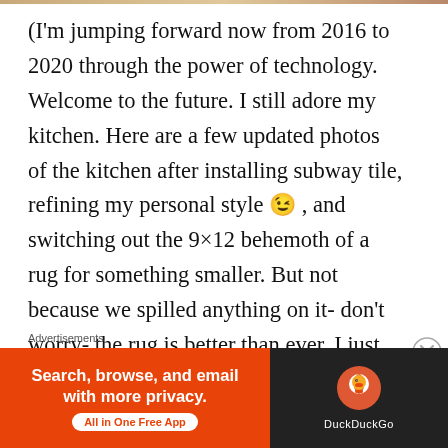(I'm jumping forward now from 2016 to 2020 through the power of technology. Welcome to the future. I still adore my kitchen. Here are a few updated photos of the kitchen after installing subway tile, refining my personal style 😉 , and switching out the 9×12 behemoth of a rug for something smaller. But not because we spilled anything on it- don't worry- the rug is better than ever. I just wanted something antique with a little
Advertisements
[Figure (other): DuckDuckGo advertisement banner: orange left panel with text 'Search, browse, and email with more privacy. All in One Free App' and dark right panel with DuckDuckGo logo and brand name.]